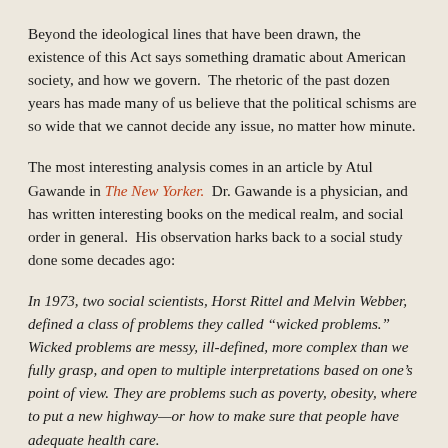Beyond the ideological lines that have been drawn, the existence of this Act says something dramatic about American society, and how we govern.  The rhetoric of the past dozen years has made many of us believe that the political schisms are so wide that we cannot decide any issue, no matter how minute.
The most interesting analysis comes in an article by Atul Gawande in The New Yorker.  Dr. Gawande is a physician, and has written interesting books on the medical realm, and social order in general.  His observation harks back to a social study done some decades ago:
In 1973, two social scientists, Horst Rittel and Melvin Webber, defined a class of problems they called “wicked problems.” Wicked problems are messy, ill-defined, more complex than we fully grasp, and open to multiple interpretations based on one’s point of view. They are problems such as poverty, obesity, where to put a new highway—or how to make sure that people have adequate health care.